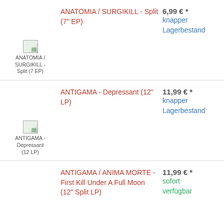ANATOMIA / SURGIKILL - Split (7" EP)
6,99 € *
knapper Lagerbestand
[Figure (photo): Thumbnail image placeholder for ANATOMIA / SURGIKILL - Split (7 EP)]
ANATOMIA / SURGIKILL - Split (7 EP)
ANTIGAMA - Depressant (12" LP)
11,99 € *
knapper Lagerbestand
[Figure (photo): Thumbnail image placeholder for ANTIGAMA - Depressant (12 LP)]
ANTIGAMA - Depressant (12 LP)
ANTIGAMA / ANIMA MORTE - First Kill Under A Full Moon (12" Split LP)
11,99 € *
sofort verfügbar